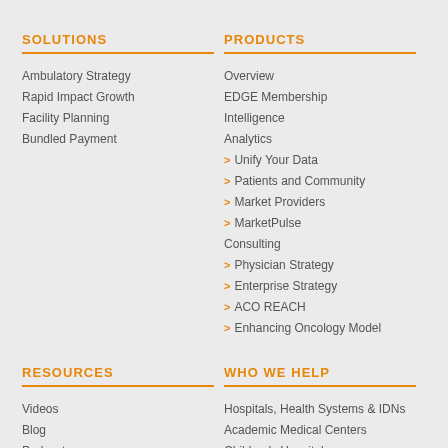SOLUTIONS
Ambulatory Strategy
Rapid Impact Growth
Facility Planning
Bundled Payment
PRODUCTS
Overview
EDGE Membership
Intelligence
Analytics
Unify Your Data
Patients and Community
Market Providers
MarketPulse
Consulting
Physician Strategy
Enterprise Strategy
ACO REACH
Enhancing Oncology Model
RESOURCES
Videos
Blog
Podcast
WHO WE HELP
Hospitals, Health Systems & IDNs
Academic Medical Centers
Children's Hospitals